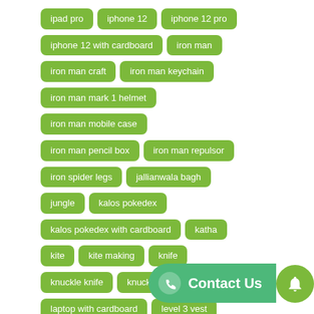ipad pro
iphone 12
iphone 12 pro
iphone 12 with cardboard
iron man
iron man craft
iron man keychain
iron man mark 1 helmet
iron man mobile case
iron man pencil box
iron man repulsor
iron spider legs
jallianwala bagh
jungle
kalos pokedex
kalos pokedex with cardboard
katha
kite
kite making
knife
knuckle knife
knuckle knife with paper
laptop with cardboard
level 3 vest
life hack
life hacks
loki's scepter
loki's staff
loki's weapon
lord hanuman
lord vishnu
love